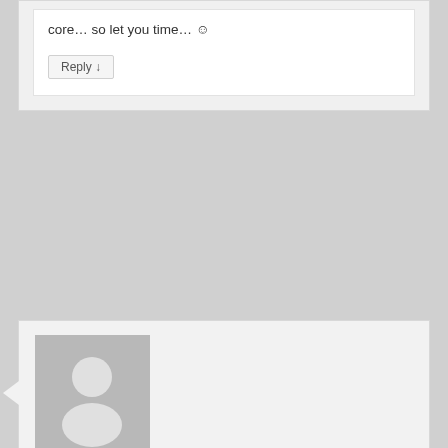core… so let you time… ☺
Reply ↓
Niclas on October 23, 2019 at 9:21 am said:
Thanks for still support of Chameleon V1 hardware.
Reply ↓
SID-6581 on November 25, 2019 at 3:25 pm said: